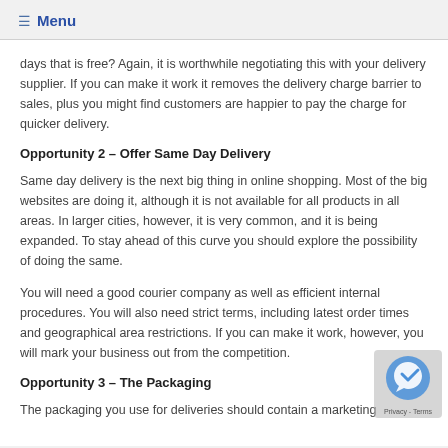☰  Menu
days that is free? Again, it is worthwhile negotiating this with your delivery supplier. If you can make it work it removes the delivery charge barrier to sales, plus you might find customers are happier to pay the charge for quicker delivery.
Opportunity 2 – Offer Same Day Delivery
Same day delivery is the next big thing in online shopping. Most of the big websites are doing it, although it is not available for all products in all areas. In larger cities, however, it is very common, and it is being expanded. To stay ahead of this curve you should explore the possibility of doing the same.
You will need a good courier company as well as efficient internal procedures. You will also need strict terms, including latest order times and geographical area restrictions. If you can make it work, however, you will mark your business out from the competition.
Opportunity 3 – The Packaging
The packaging you use for deliveries should contain a marketing